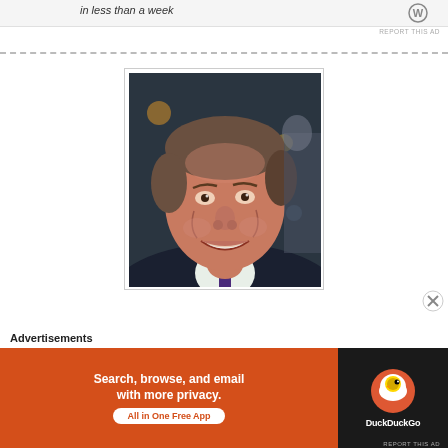[Figure (other): Top advertisement banner with text 'in less than a week' and a WordPress-style logo]
REPORT THIS AD
[Figure (photo): Portrait photograph of an elderly man smiling, wearing a dark suit and purple striped tie, with gray-brown hair, at what appears to be an event]
Advertisements
[Figure (other): DuckDuckGo advertisement banner with orange background reading 'Search, browse, and email with more privacy. All in One Free App' and DuckDuckGo logo on dark background]
REPORT THIS AD